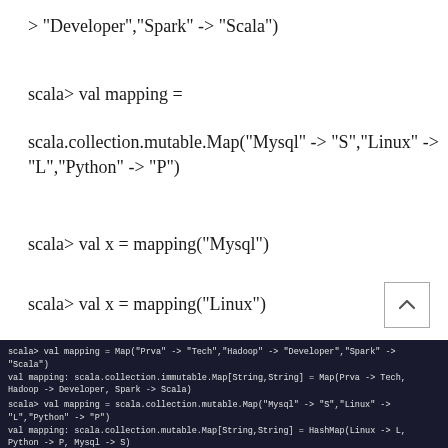> "Developer","Spark" -> "Scala")
scala> val mapping =
scala.collection.mutable.Map("Mysql" -> "S","Linux" -> "L","Python" -> "P")
scala> val x = mapping("Mysql")
scala> val x = mapping("Linux")
scala> val x = mapping("Python")
scala> for((s,l) <- mapping) yield(l,s)
[Figure (screenshot): Terminal output showing scala REPL session with val mapping assignments and results]